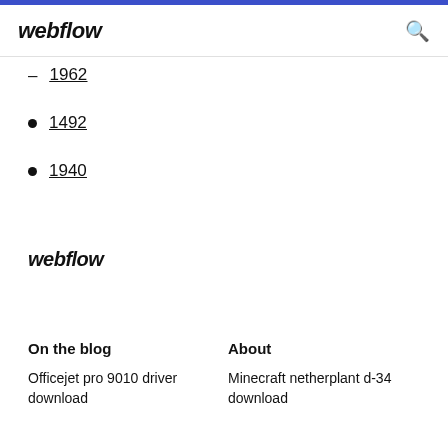webflow
1962
1492
1940
webflow
On the blog   About
Officejet pro 9010 driver download   Minecraft netherplant d-34 download